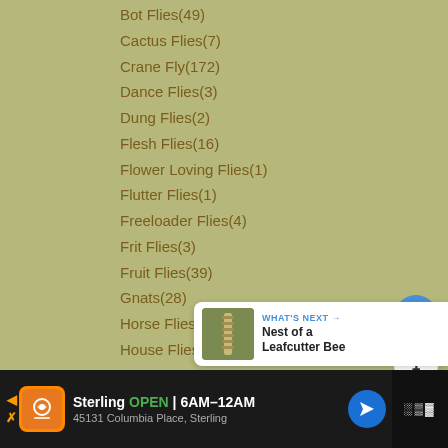Bot Flies(49)
Cactus Flies(7)
Crane Fly(172)
Dance Flies(3)
Dung Flies(2)
Flesh Flies(16)
Flower Loving Flies(1)
Flutter Flies(1)
Freeloader Flies(4)
Frit Flies(3)
Fruit Flies(39)
Gnats(28)
Horse Flies and Deer Flies(113)
House Flies(7)
Long Legged Flies(13)
Louse Flies(32)
Maggots and Puparia(100)
March Flies and Lovebugs(40)
Marsh Flies and Snail Killing Flies(2)
Midges(35)
[Figure (screenshot): What's Next panel showing a thumbnail of a Leafcutter Bee nest with text 'Nest of a Leafcutter Bee']
[Figure (screenshot): Advertisement bar for Sterling restaurant showing open hours 6AM-12AM and address 45131 Columbia Place, Sterling]